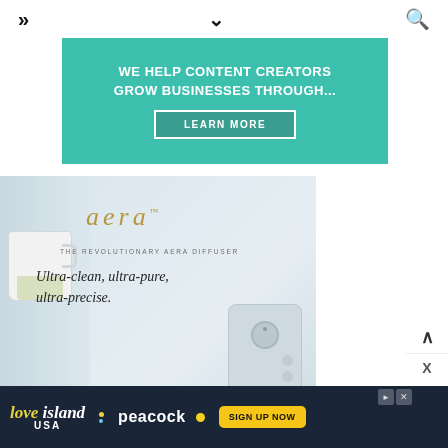>> navigation | v | search
[Figure (infographic): Teal promotional banner: WE HELP CONTENT CREATORS GROW BUSINESSES THROUGH... with LEARN MORE button]
[Figure (photo): Aera diffuser advertisement showing the revolutionary Aera diffuser with tagline Ultra-clean, ultra-pure, ultra-precise. Features aera brand logo in gold cursive, a teacup, and the white diffuser device.]
[Figure (infographic): Love Island USA Peacock advertisement with SIGN UP NOW button in yellow]